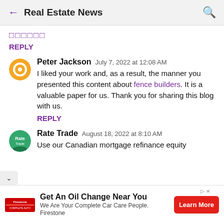Real Estate News
□□□□□□
REPLY
Peter Jackson  July 7, 2022 at 12:08 AM
I liked your work and, as a result, the manner you presented this content about fence builders. It is a valuable paper for us. Thank you for sharing this blog with us.
REPLY
Rate Trade  August 18, 2022 at 8:10 AM
Use our Canadian mortgage refinance equity
Get An Oil Change Near You  We Are Your Complete Car Care People. Firestone  Learn More